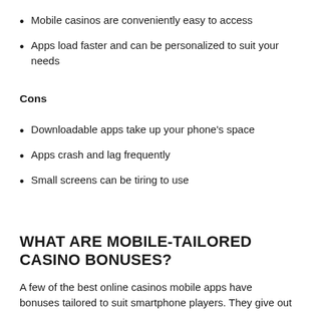Mobile casinos are conveniently easy to access
Apps load faster and can be personalized to suit your needs
Cons
Downloadable apps take up your phone's space
Apps crash and lag frequently
Small screens can be tiring to use
WHAT ARE MOBILE-TAILORED CASINO BONUSES?
A few of the best online casinos mobile apps have bonuses tailored to suit smartphone players. They give out these offers to encourage gambling on handheld